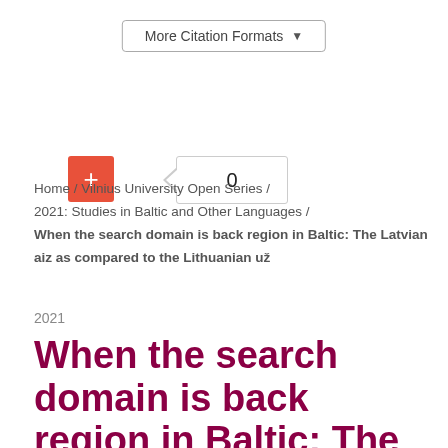[Figure (screenshot): More Citation Formats dropdown button]
[Figure (screenshot): Orange plus button and citation count badge showing 0]
Home / Vilnius University Open Series / 2021: Studies in Baltic and Other Languages / When the search domain is back region in Baltic: The Latvian aiz as compared to the Lithuanian už
2021
When the search domain is back region in Baltic: The Latvian aiz as compared to the Lithuanian už